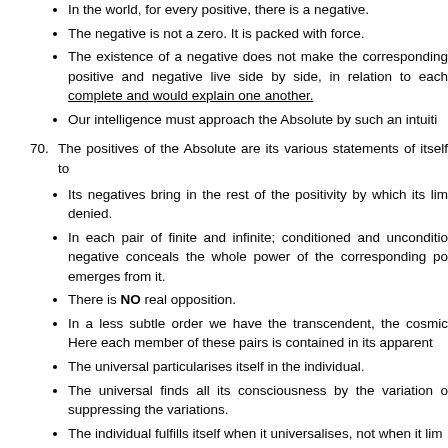In the world, for every positive, there is a negative.
The negative is not a zero. It is packed with force.
The existence of a negative does not make the corresponding positive and negative live side by side, in relation to each other, complete and would explain one another.
Our intelligence must approach the Absolute by such an intuit...
70. The positives of the Absolute are its various statements of itself to...
Its negatives bring in the rest of the positivity by which its lim... denied.
In each pair of finite and infinite; conditioned and unconditio... negative conceals the whole power of the corresponding po... emerges from it.
There is NO real opposition.
In a less subtle order we have the transcendent, the cosmic... Here each member of these pairs is contained in its apparent...
The universal particularises itself in the individual.
The universal finds all its consciousness by the variation of suppressing the variations.
The individual fulfills itself when it universalises, not when it lim...
The cosmic contains in all itself and in each thing in it transcendent.
It maintains itself as the world being by the consciousness of it...